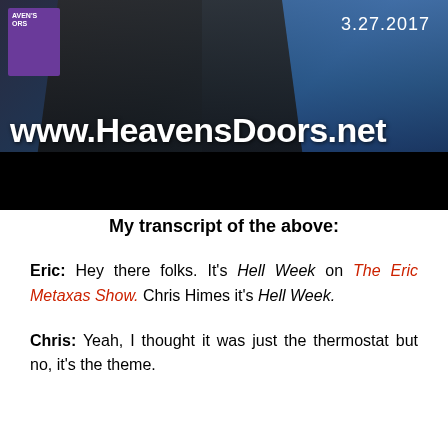[Figure (screenshot): Video thumbnail/screenshot showing a man in a dark suit holding a purple book, with a city background, the URL www.HeavensDoors.net in white text, and the date 3.27.2017 in the upper right corner. A black bar appears at the bottom of the image.]
My transcript of the above:
Eric: Hey there folks. It's Hell Week on The Eric Metaxas Show. Chris Himes it's Hell Week.
Chris: Yeah, I thought it was just the thermostat but no, it's the theme.